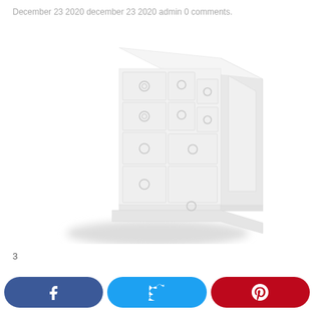December 23 2020 december 23 2020 admin 0 comments.
[Figure (photo): A white wooden chest of drawers with multiple drawers and circular ring handles, shown from a slight angle. The furniture is all white against a white background, giving a very pale, washed-out look.]
3
[Figure (infographic): Social sharing buttons for Facebook (dark blue), Twitter (light blue), and Pinterest (red), each with the respective icon in white.]